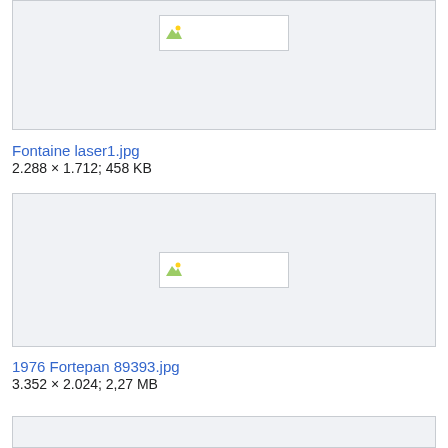[Figure (photo): Broken/missing image placeholder for Fontaine laser1.jpg]
Fontaine laser1.jpg
2.288 × 1.712; 458 KB
[Figure (photo): Broken/missing image placeholder for 1976 Fortepan 89393.jpg]
1976 Fortepan 89393.jpg
3.352 × 2.024; 2,27 MB
[Figure (photo): Broken/missing image placeholder for a third image (partial, clipped at bottom)]